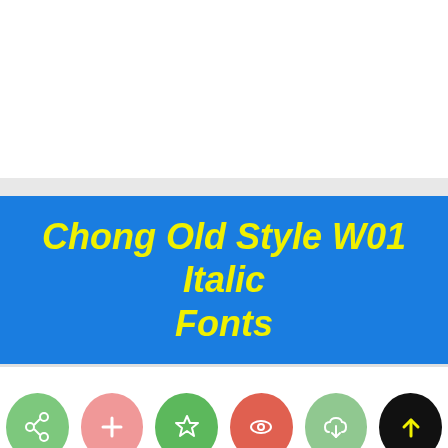Chong Old Style W01 Italic Fonts
[Figure (screenshot): Row of six circular icon buttons: share (medium green), plus/add (pink), star/favorite (bright green), eye/view (coral/red), cloud-download (light green), and upload arrow (black). All icons are white outlines on colored circles.]